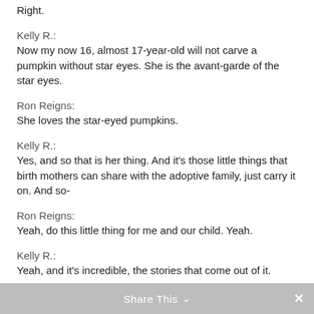Right.
Kelly R.:
Now my now 16, almost 17-year-old will not carve a pumpkin without star eyes. She is the avant-garde of the star eyes.
Ron Reigns:
She loves the star-eyed pumpkins.
Kelly R.:
Yes, and so that is her thing. And it's those little things that birth mothers can share with the adoptive family, just carry it on. And so-
Ron Reigns:
Yeah, do this little thing for me and our child. Yeah.
Kelly R.:
Yeah, and it's incredible, the stories that come out of it.
Share This ∨  ✕